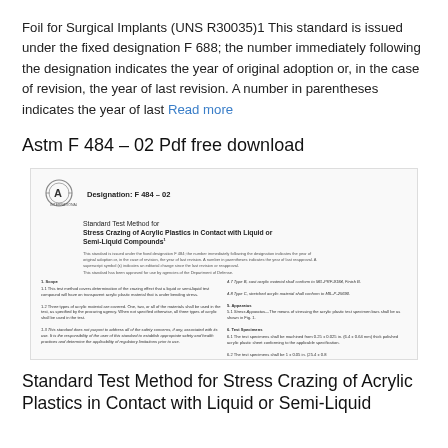Foil for Surgical Implants (UNS R30035)1 This standard is issued under the fixed designation F 688; the number immediately following the designation indicates the year of original adoption or, in the case of revision, the year of last revision. A number in parentheses indicates the year of last Read more
Astm F 484 – 02 Pdf free download
[Figure (screenshot): Preview image of ASTM F 484-02 standard document page showing ASTM International logo, designation F 484-02, title 'Standard Test Method for Stress Crazing of Acrylic Plastics in Contact with Liquid or Semi-Liquid Compounds', introductory text, and two-column body text covering Scope and Apparatus sections.]
Standard Test Method for Stress Crazing of Acrylic Plastics in Contact with Liquid or Semi-Liquid